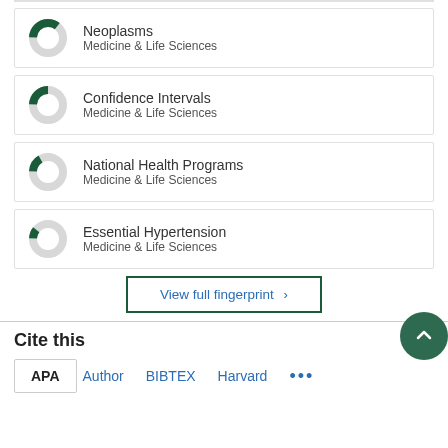[Figure (donut-chart): Donut chart with dark green segment (~35%) for Neoplasms, Medicine & Life Sciences]
Neoplasms
Medicine & Life Sciences
[Figure (donut-chart): Donut chart with dark green segment (~25%) for Confidence Intervals, Medicine & Life Sciences]
Confidence Intervals
Medicine & Life Sciences
[Figure (donut-chart): Donut chart with dark green segment (~15%) for National Health Programs, Medicine & Life Sciences]
National Health Programs
Medicine & Life Sciences
[Figure (donut-chart): Donut chart with dark green segment (~10%) for Essential Hypertension, Medicine & Life Sciences]
Essential Hypertension
Medicine & Life Sciences
View full fingerprint >
Cite this
APA   Author   BIBTEX   Harvard   ...